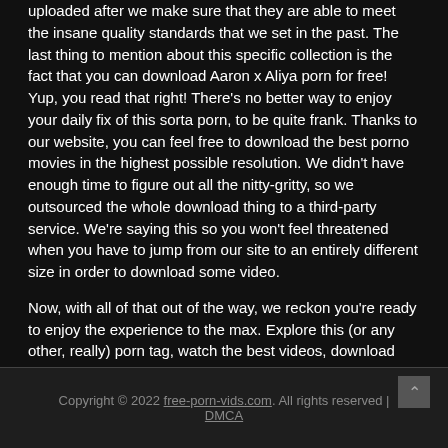uploaded after we make sure that they are able to meet the insane quality standards that we set in the past. The last thing to mention about this specific collection is the fact that you can download Aaron x Aliya porn for free! Yup, you read that right! There's no better way to enjoy your daily fix of this sorta porn, to be quite frank. Thanks to our website, you can feel free to download the best porno movies in the highest possible resolution. We didn't have enough time to figure out all the nitty-gritty, so we outsourced the whole download thing to a third-party service. We're saying this so you won't feel threatened when you have to jump from our site to an entirely different size in order to download some video.
Now, with all of that out of the way, we reckon you're ready to enjoy the experience to the max. Explore this (or any other, really) porn tag, watch the best videos, download them, do whatever the fuck you want. Our tube is THE place to get a little crazy with your porn-watching. Have fun, knock yourself out, don't forget to bookmark this site on your way out.
Copyright © 2022 free-porn-vids.com. All rights reserved | DMCA